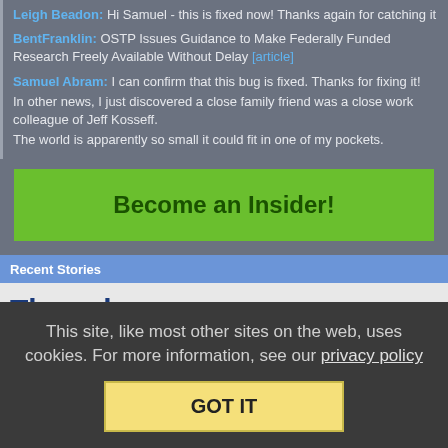Leigh Beadon: Hi Samuel - this is fixed now! Thanks again for catching it
BentFranklin: OSTP Issues Guidance to Make Federally Funded Research Freely Available Without Delay [article]
Samuel Abram: I can confirm that this bug is fixed. Thanks for fixing it! In other news, I just discovered a close family friend was a close work colleague of Jeff Kosseff. The world is apparently so small it could fit in one of my pockets.
Become an Insider!
Recent Stories
Thursday
20:06 Xbox Chief: Exclusives Aren't the Future, Pay No Attention To All These Exclusives (4)
15:31 Sixth Circuit: Equal Access To Court Proceedings Only Applies To Those More Equal Than Others (14)
This site, like most other sites on the web, uses cookies. For more information, see our privacy policy
GOT IT